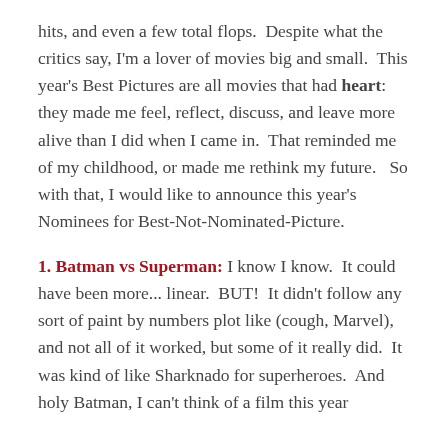hits, and even a few total flops.  Despite what the critics say, I'm a lover of movies big and small.  This year's Best Pictures are all movies that had heart: they made me feel, reflect, discuss, and leave more alive than I did when I came in.  That reminded me of my childhood, or made me rethink my future.   So with that, I would like to announce this year's Nominees for Best-Not-Nominated-Picture.
1. Batman vs Superman: I know I know.  It could have been more... linear.  BUT!  It didn't follow any sort of paint by numbers plot like (cough, Marvel), and not all of it worked, but some of it really did.  It was kind of like Sharknado for superheroes.  And holy Batman, I can't think of a film this year